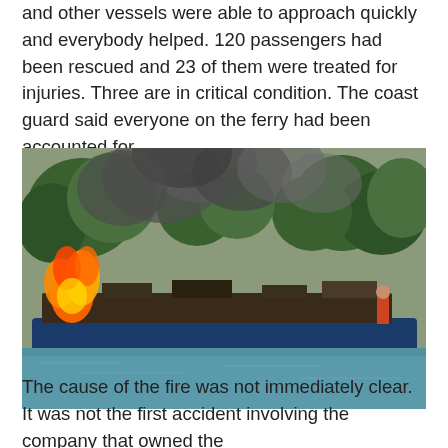and other vessels were able to approach quickly and everybody helped. 120 passengers had been rescued and 23 of them were treated for injuries. Three are in critical condition. The coast guard said everyone on the ferry had been accounted for.
[Figure (photo): A ferry boat on fire and partially sunk in a river or bay, with large flames on the left side and heavy dark smoke rising. Trees visible in the background. Another person standing on the right side. Calm blue-green water in the foreground.]
The cause of the fire was not immediately clear. It was not the first accident involving the company that owned the